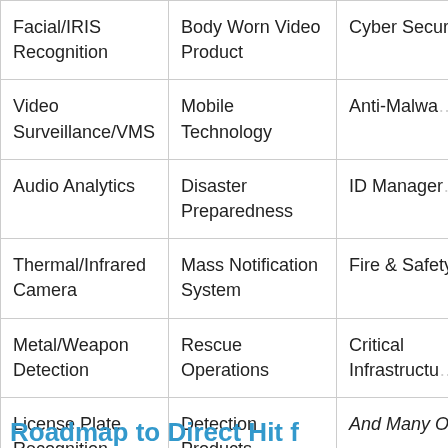| Facial/IRIS Recognition | Body Worn Video Product | Cyber Secur… |
| Video Surveillance/VMS | Mobile Technology | Anti-Malwa… |
| Audio Analytics | Disaster Preparedness | ID Manager… |
| Thermal/Infrared Camera | Mass Notification System | Fire & Safety… |
| Metal/Weapon Detection | Rescue Operations | Critical Infrastructu… |
| License Plate Recognition | Detection Products | And Many O… |
Roadmap to Direct Hit f…